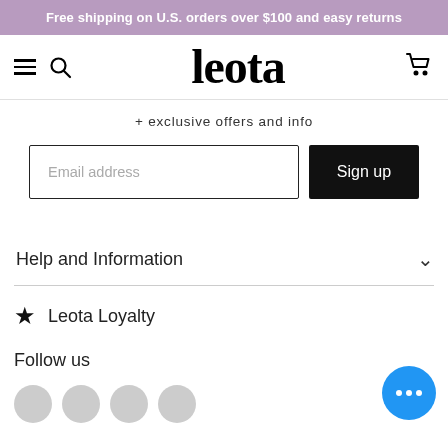Free shipping on U.S. orders over $100 and easy returns
[Figure (logo): Leota brand logo with hamburger menu, search icon, and cart icon]
+ exclusive offers and info
[Figure (screenshot): Email address input field with placeholder text 'Email address' and a black 'Sign up' button]
Help and Information
Leota Loyalty
Follow us